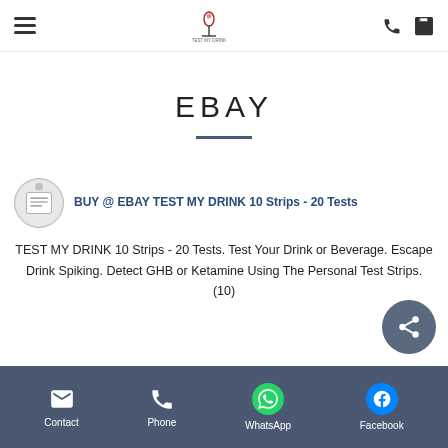Navigation header with hamburger menu, logo, phone icon, and cart icon
EBAY
[Figure (illustration): Circular thumbnail image showing a product/listing icon for Test My Drink strips]
BUY @ EBAY TEST MY DRINK 10 Strips - 20 Tests
TEST MY DRINK 10 Strips - 20 Tests. Test Your Drink or Beverage. Escape Drink Spiking. Detect GHB or Ketamine Using The Personal Test Strips. (10)
Contact | Phone | WhatsApp | Facebook